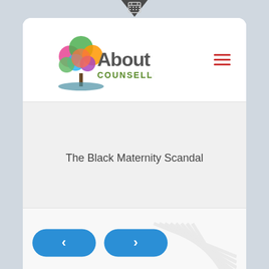[Figure (logo): About Counselling logo with colorful tree and text]
The Black Maternity Scandal
[Figure (screenshot): Navigation buttons (previous < and next >) in blue pill-shaped buttons, followed by 'The Black' heading text below]